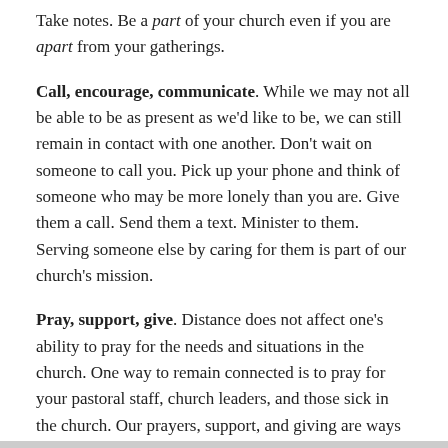Take notes. Be a part of your church even if you are apart from your gatherings.
Call, encourage, communicate. While we may not all be able to be as present as we'd like to be, we can still remain in contact with one another. Don't wait on someone to call you. Pick up your phone and think of someone who may be more lonely than you are. Give them a call. Send them a text. Minister to them. Serving someone else by caring for them is part of our church's mission.
Pray, support, give. Distance does not affect one's ability to pray for the needs and situations in the church. One way to remain connected is to pray for your pastoral staff, church leaders, and those sick in the church. Our prayers, support, and giving are ways to invest in the life of the church. Investment in the church leads to being anchored in the church.
Photo by Jackson David on Unsplash